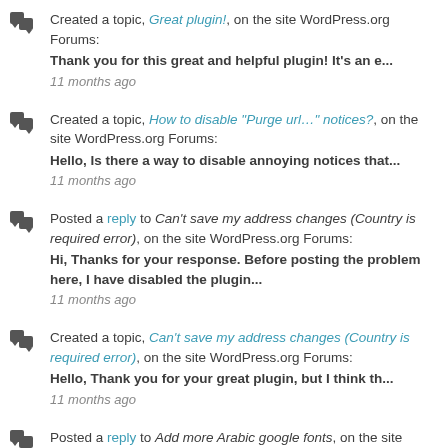Created a topic, Great plugin!, on the site WordPress.org Forums:
Thank you for this great and helpful plugin! It's an e...
11 months ago
Created a topic, How to disable "Purge url..." notices?, on the site WordPress.org Forums:
Hello, Is there a way to disable annoying notices that...
11 months ago
Posted a reply to Can't save my address changes (Country is required error), on the site WordPress.org Forums:
Hi, Thanks for your response. Before posting the problem here, I have disabled the plugin...
11 months ago
Created a topic, Can't save my address changes (Country is required error), on the site WordPress.org Forums:
Hello, Thank you for your great plugin, but I think th...
11 months ago
Posted a reply to Add more Arabic google fonts, on the site WordPress.org Forums: